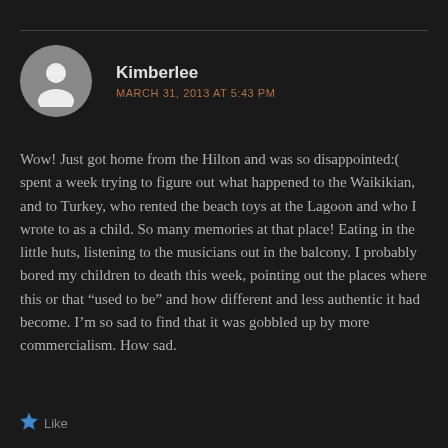[Figure (illustration): Circular avatar placeholder with grey background showing a white silhouette of a person (head and shoulders)]
Kimberlee
MARCH 31, 2013 AT 5:43 PM
Wow! Just got home from the Hilton and was so disappointed:( spent a week trying to figure out what happened to the Waikikian, and to Turkey, who rented the beach toys at the Lagoon and who I wrote to as a child. So many memories at that place! Eating in the little huts, listening to the musicians out in the balcony. I probably bored my children to death this week, pointing out the places where this or that “used to be” and how different and less authentic it had become. I’m so sad to find that it was gobbled up by more commercialism. How sad.
Like